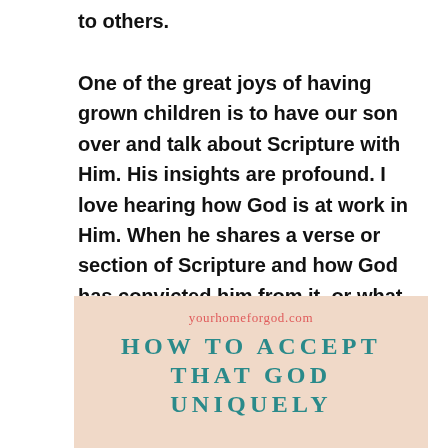to others.
One of the great joys of having grown children is to have our son over and talk about Scripture with Him. His insights are profound. I love hearing how God is at work in Him. When he shares a verse or section of Scripture and how God has convicted him from it, or what He is thinking about it, how God wants to change him from it, it touches me deeply. I’m thrilled. It also convicts me.
[Figure (other): Promotional book/article image with peach/salmon background. Text reads: yourhomeforgod.com / HOW TO ACCEPT / THAT GOD / UNIQUELY (text cut off at bottom)]